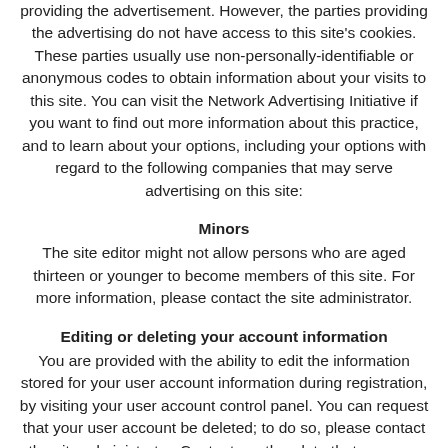providing the advertisement. However, the parties providing the advertising do not have access to this site's cookies. These parties usually use non-personally-identifiable or anonymous codes to obtain information about your visits to this site. You can visit the Network Advertising Initiative if you want to find out more information about this practice, and to learn about your options, including your options with regard to the following companies that may serve advertising on this site:
Minors
The site editor might not allow persons who are aged thirteen or younger to become members of this site. For more information, please contact the site administrator.
Editing or deleting your account information
You are provided with the ability to edit the information stored for your user account information during registration, by visiting your user account control panel. You can request that your user account be deleted; to do so, please contact the site administrator. Content or other data that you may have